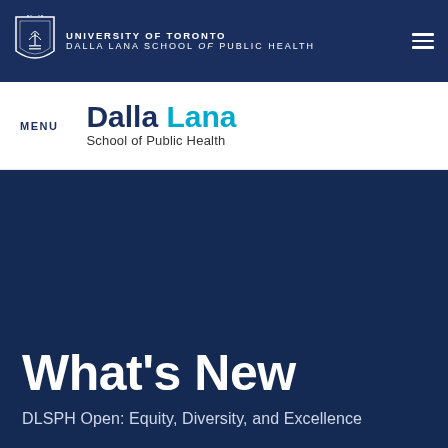[Figure (logo): University of Toronto Dalla Lana School of Public Health top navigation bar with crest/shield logo, university name text, and hamburger menu icon on navy background]
MENU  Dalla Lana School of Public Health
What’s New
DLSPH Open: Equity, Diversity, and Excellence